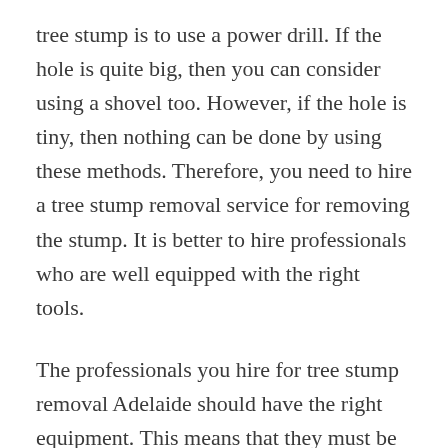tree stump is to use a power drill. If the hole is quite big, then you can consider using a shovel too. However, if the hole is tiny, then nothing can be done by using these methods. Therefore, you need to hire a tree stump removal service for removing the stump. It is better to hire professionals who are well equipped with the right tools.
The professionals you hire for tree stump removal Adelaide should have the right equipment. This means that they must be wearing the right protective gear and clothing for the safety of themselves and others during the procedure. For example, you need to gather all the tools and equipment such as hand saw, electric cord, bucket, ladder, and